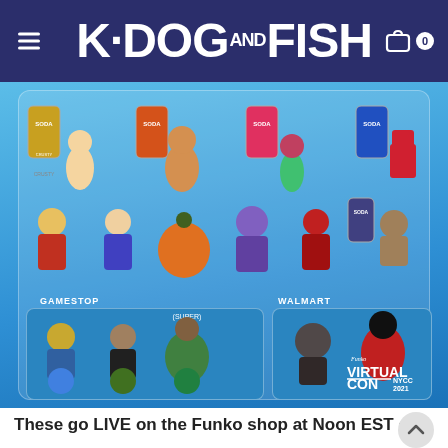K-DOG AND FISH
[Figure (photo): Funko Virtual Con NYCC 2021 product lineup showing Funko Soda cans and vinyl figures including GameStop exclusives (Beetlejuice, Jon Snow, Super Monster Hunter figure, Stitch, Swamp Thing variants) and Walmart exclusives (Star Wars figure, Venom). Bottom right shows Funko Virtual Con NYCC 2021 logo.]
These go LIVE on the Funko shop at Noon EST on